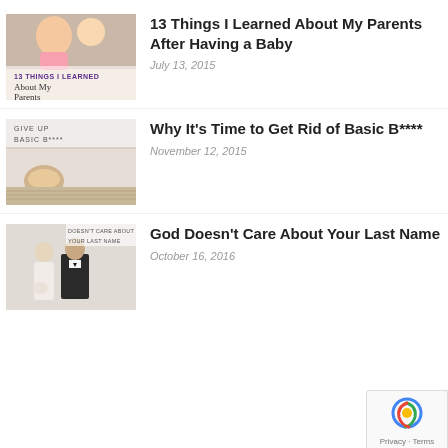[Figure (photo): Thumbnail image showing a woman holding a baby, with text overlay '13 THINGS I LEARNED About My Parents']
13 Things I Learned About My Parents After Having a Baby
July 13, 2015
[Figure (photo): Thumbnail image showing a person lying down holding a coffee cup, with text overlay 'GIVE UP BASIC B****']
Why It’s Time to Get Rid of Basic B****
November 12, 2015
[Figure (photo): Thumbnail image showing a bride and groom, with text overlay 'DOESN’T CARE ABOUT YOUR LAST NAME']
God Doesn’t Care About Your Last Name
October 16, 2016